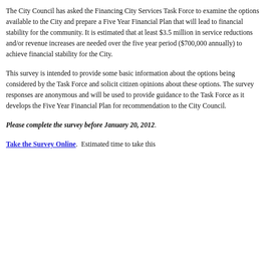The City Council has asked the Financing City Services Task Force to examine the options available to the City and prepare a Five Year Financial Plan that will lead to financial stability for the community. It is estimated that at least $3.5 million in service reductions and/or revenue increases are needed over the five year period ($700,000 annually) to achieve financial stability for the City.
This survey is intended to provide some basic information about the options being considered by the Task Force and solicit citizen opinions about these options. The survey responses are anonymous and will be used to provide guidance to the Task Force as it develops the Five Year Financial Plan for recommendation to the City Council.
Please complete the survey before January 20, 2012.
Take the Survey Online.  Estimated time to take this